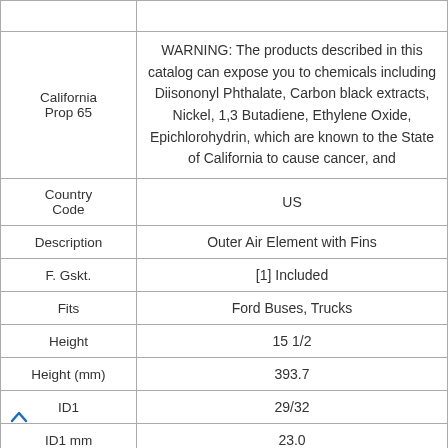| Attribute | Value |
| --- | --- |
| California Prop 65 | WARNING: The products described in this catalog can expose you to chemicals including Diisononyl Phthalate, Carbon black extracts, Nickel, 1,3 Butadiene, Ethylene Oxide, Epichlorohydrin, which are known to the State of California to cause cancer, and |
| Country Code | US |
| Description | Outer Air Element with Fins |
| F. Gskt. | [1] Included |
| Fits | Ford Buses, Trucks |
| Height | 15 1/2 |
| Height (mm) | 393.7 |
| ID1 | 29/32 |
| ID1 mm | 23.0 |
| ID2 | 9 1/2 |